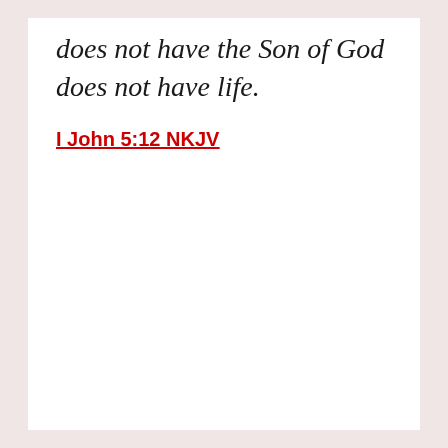does not have the Son of God does not have life.
I John 5:12 NKJV